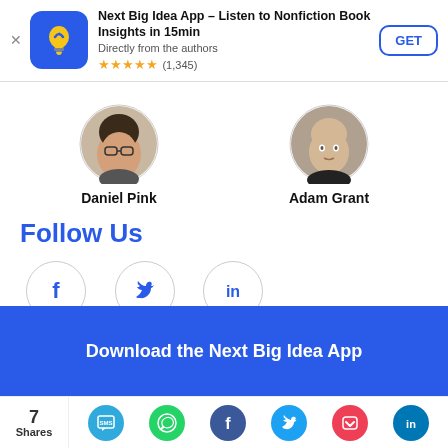[Figure (screenshot): App store banner for Next Big Idea App with icon, title, subtitle, star rating, and GET button]
[Figure (photo): Circular portrait photo of Daniel Pink]
Daniel Pink
[Figure (photo): Circular portrait photo of Adam Grant]
Adam Grant
Follow Us
[Figure (logo): Facebook circle icon with f logo]
Facebook
[Figure (logo): Twitter circle icon with bird logo]
Twitter
[Figure (logo): LinkedIn circle icon with in logo]
Linkedin
Download the Next Big Idea App
[Figure (infographic): Share bar showing 7 Shares and social sharing icons: SMS, WhatsApp, Facebook, Twitter, Pocket, LinkedIn]